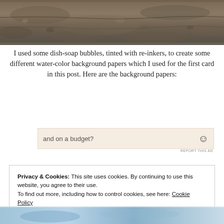[Figure (photo): Close-up photo of rocky stone/dirt surface with muted brown and gray tones]
I used some dish-soap bubbles, tinted with re-inkers, to create some different water-color background papers which I used for the first card in this post. Here are the background papers:
[Figure (infographic): Partial advertisement banner with text 'and on a budget?' on a light beige background with a smiley icon and 'REPORT THIS AD' label]
Privacy & Cookies: This site uses cookies. By continuing to use this website, you agree to their use.
To find out more, including how to control cookies, see here: Cookie Policy
[Figure (photo): Partial bottom photo strip showing a colorful blue-tinted scene]